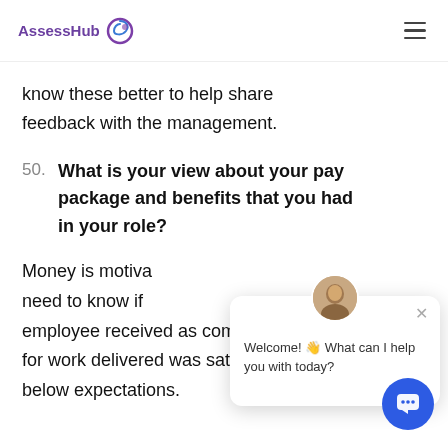AssessHub
know these better to help share feedback with the management.
50. What is your view about your pay package and benefits that you had in your role?
Money is motiva... need to know if... employee received as compensation for work delivered was satisfactory or below expectations.